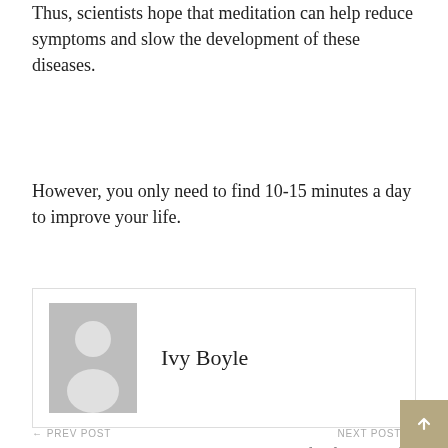Thus, scientists hope that meditation can help reduce symptoms and slow the development of these diseases.
However, you only need to find 10-15 minutes a day to improve your life.
[Figure (illustration): Author avatar placeholder showing a generic person silhouette in gray, next to the name Ivy Boyle]
Ivy Boyle
← PREV POST
Financial dependence on a partner.
NEXT POST →
Pregnancy after forty: benefits and risks.